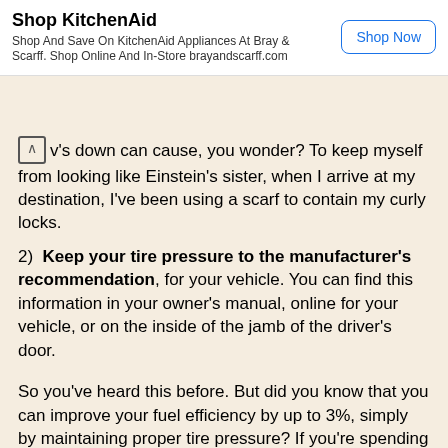[Figure (other): Advertisement banner for KitchenAid with 'Shop Now' button]
v's down can cause, you wonder? To keep myself from looking like Einstein's sister, when I arrive at my destination, I've been using a scarf to contain my curly locks.
2)  Keep your tire pressure to the manufacturer's recommendation, for your vehicle. You can find this information in your owner's manual, online for your vehicle, or on the inside of the jamb of the driver's door.
So you've heard this before. But did you know that you can improve your fuel efficiency by up to 3%, simply by maintaining proper tire pressure? If you're spending $150 per month on gas for your cars, multiplied by 12 months, that 3% is over $50, by the end of the year, my friend!
Many gas stations have air refilling pumps, some charge 25 cents or so, but many are free. This is a super cheap way to gain back some of that $$ that gas price increases have...